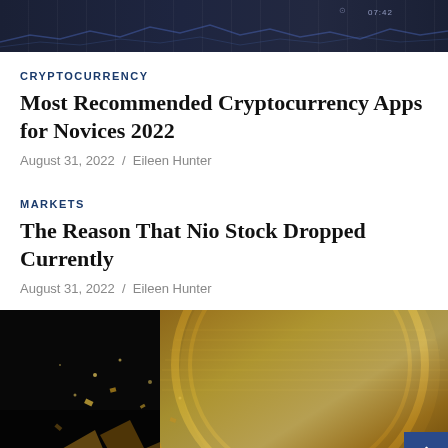[Figure (screenshot): Top banner image showing a dark financial/crypto trading screen with time display showing 07:42]
CRYPTOCURRENCY
Most Recommended Cryptocurrency Apps for Novices 2022
August 31, 2022  /  Eileen Hunter
MARKETS
The Reason That Nio Stock Dropped Currently
August 31, 2022  /  Eileen Hunter
[Figure (photo): Close-up photograph of a gold Bitcoin coin shattering or breaking apart, with gold fragments flying, on a dark background]